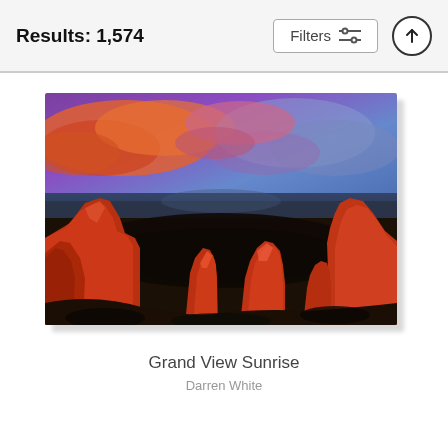Results: 1,574
[Figure (photo): Landscape photograph of red rock canyon formations (Colorado National Monument) at sunrise with dramatic pink and purple clouds in the sky. Photo by Darren White titled 'Grand View Sunrise'.]
Grand View Sunrise
Darren White